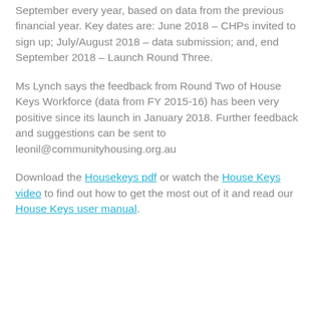September every year, based on data from the previous financial year.  Key dates are: June 2018 – CHPs invited to sign up;  July/August 2018 – data submission; and, end September 2018 – Launch Round Three.
Ms Lynch says the feedback from Round Two of House Keys Workforce (data from FY 2015-16) has been very positive since its launch in January 2018. Further feedback and suggestions can be sent to leonil@communityhousing.org.au
Download the Housekeys pdf or watch the House Keys video to find out how to get the most out of it and read our House Keys user manual.